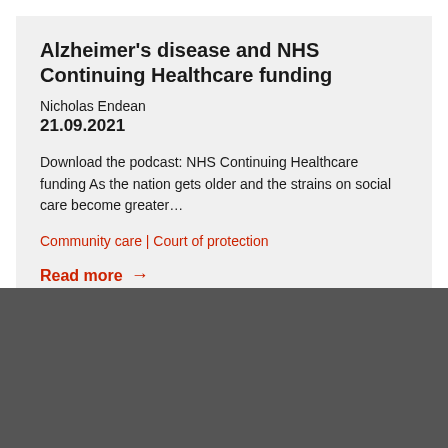Alzheimer's disease and NHS Continuing Healthcare funding
Nicholas Endean
21.09.2021
Download the podcast: NHS Continuing Healthcare funding As the nation gets older and the strains on social care become greater…
Community care | Court of protection
Read more →